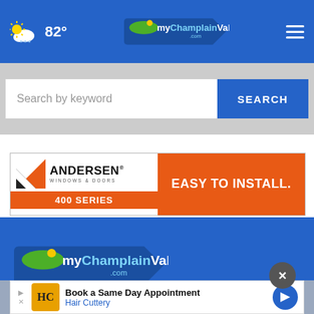82° myChamplainValley.com
Search by keyword
SEARCH
[Figure (screenshot): Andersen Windows & Doors 400 Series advertisement banner with orange and white design, text: EASY TO INSTALL.]
[Figure (logo): myChamplainValley.com logo in white/yellow/green on blue background]
Follow
[Figure (screenshot): Hair Cuttery advertisement: Book a Same Day Appointment]